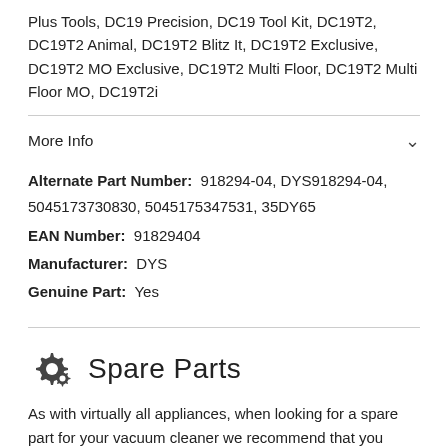Plus Tools, DC19 Precision, DC19 Tool Kit, DC19T2, DC19T2 Animal, DC19T2 Blitz It, DC19T2 Exclusive, DC19T2 MO Exclusive, DC19T2 Multi Floor, DC19T2 Multi Floor MO, DC19T2i
More Info
Alternate Part Number: 918294-04, DYS918294-04, 5045173730830, 5045175347531, 35DY65
EAN Number: 91829404
Manufacturer: DYS
Genuine Part: Yes
Spare Parts
As with virtually all appliances, when looking for a spare part for your vacuum cleaner we recommend that you should do is locate down the proper model number for your vacuum cleaner. We advise you not to trust the user guide or manual as all too often these will be generic and cover a range of